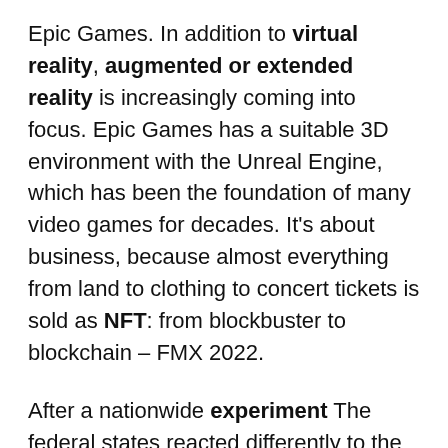Epic Games. In addition to virtual reality, augmented or extended reality is increasingly coming into focus. Epic Games has a suitable 3D environment with the Unreal Engine, which has been the foundation of many video games for decades. It's about business, because almost everything from land to clothing to concert tickets is sold as NFT: from blockbuster to blockchain – FMX 2022.
After a nationwide experiment The federal states reacted differently to the police handling of displays of hate messages. In Leipzig and Bremen, the result led to investigations in their own ranks. While Hessen